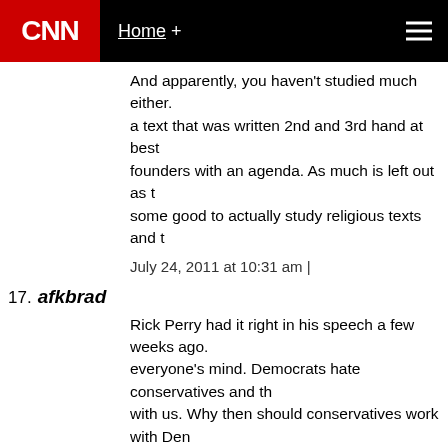CNN | Home +
And apparently, you haven't studied much either. a text that was written 2nd and 3rd hand at best founders with an agenda. As much is left out as some good to actually study religious texts and t
July 24, 2011 at 10:31 am |
17. afkbrad
Rick Perry had it right in his speech a few weeks ago. everyone's mind. Democrats hate conservatives and th with us. Why then should conservatives work with Dem is lambaste you through the media? Amen Governor P
Democrats don't want to know anything about my con Democrats can't understand my philosophies. Democ churches, listen to our music, watch our sporting even at deer camp. If they don't want to learn anything abo we'll continue to stay divided forever.
July 24, 2011 at 10:20 am |